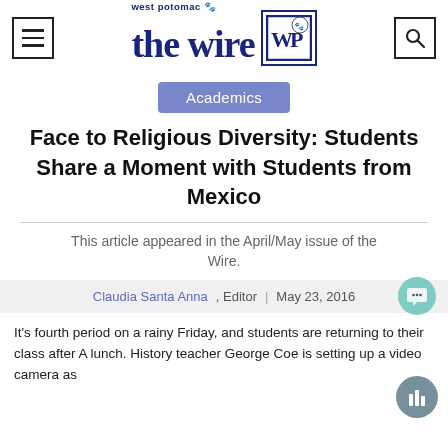west potomac the wire
Academics
Face to Religious Diversity: Students Share a Moment with Students from Mexico
This article appeared in the April/May issue of the Wire.
Claudia Santa Anna, Editor | May 23, 2016
It's fourth period on a rainy Friday, and students are returning to their class after A lunch. History teacher George Coe is setting up a video camera as